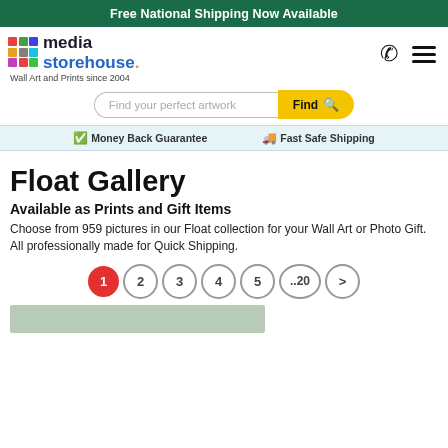Free National Shipping Now Available
[Figure (logo): Media Storehouse logo with colorful grid squares and company name]
Wall Art and Prints since 2004
Find your perfect artwork
Money Back Guarantee   Fast Safe Shipping
Float Gallery
Available as Prints and Gift Items
Choose from 959 pictures in our Float collection for your Wall Art or Photo Gift. All professionally made for Quick Shipping.
1  2  3  4  5  ..20  >